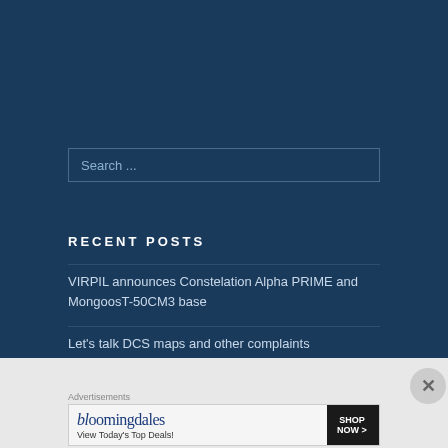[Figure (screenshot): Search input box with placeholder text 'Search ...' on dark navy background]
RECENT POSTS
VIRPIL announces Constelation Alpha PRIME and MongoosT-50CM3 base
Let's talk DCS maps and other complaints
Advertisements
[Figure (other): Bloomingdale's advertisement banner: 'View Today's Top Deals!' with SHOP NOW button and woman in hat image]